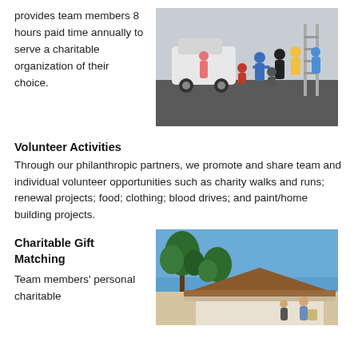provides team members 8 hours paid time annually to serve a charitable organization of their choice.
[Figure (photo): Group of people (volunteers/team members) posing outdoors in a parking lot area, several wearing masks, in front of a white SUV and a ladder.]
Volunteer Activities
Through our philanthropic partners, we promote and share team and individual volunteer opportunities such as charity walks and runs; renewal projects; food; clothing; blood drives; and paint/home building projects.
Charitable Gift Matching
Team members' personal charitable
[Figure (photo): Outdoor photo showing a house with brown roofline and blue sky with trees, volunteers visible near the house.]